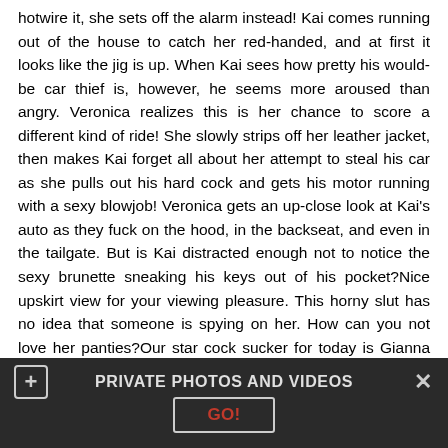hotwire it, she sets off the alarm instead! Kai comes running out of the house to catch her red-handed, and at first it looks like the jig is up. When Kai sees how pretty his would-be car thief is, however, he seems more aroused than angry. Veronica realizes this is her chance to score a different kind of ride! She slowly strips off her leather jacket, then makes Kai forget all about her attempt to steal his car as she pulls out his hard cock and gets his motor running with a sexy blowjob! Veronica gets an up-close look at Kai's auto as they fuck on the hood, in the backseat, and even in the tailgate. But is Kai distracted enough not to notice the sexy brunette sneaking his keys out of his pocket?Nice upskirt view for your viewing pleasure. This horny slut has no idea that someone is spying on her. How can you not love her panties?Our star cock sucker for today is Gianna Gem, an 18yo brunette who loves sucking big cocks so much. She teases her guy by showing her
PRIVATE PHOTOS AND VIDEOS
GO!